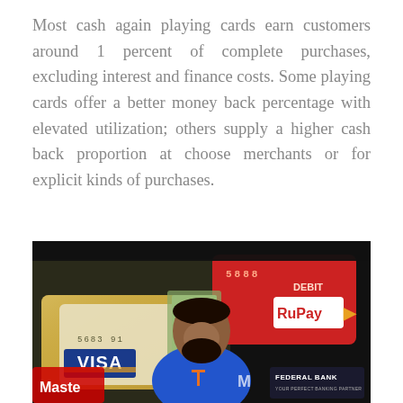Most cash again playing cards earn customers around 1 percent of complete purchases, excluding interest and finance costs. Some playing cards offer a better money back percentage with elevated utilization; others supply a higher cash back proportion at choose merchants or for explicit kinds of purchases.
[Figure (photo): A man smiling in a blue polo shirt with the letter T on it, standing in front of a composite background showing credit/debit cards including a VISA card, a RuPay DEBIT card, a MasterCard, and a Federal Bank logo. The image appears to be a video thumbnail or screenshot.]